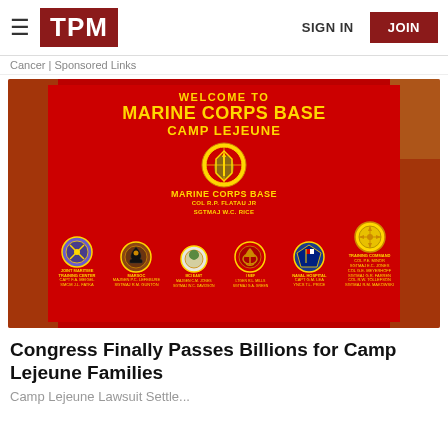TPM  SIGN IN  JOIN
Cancer | Sponsored Links
[Figure (photo): Welcome to Marine Corps Base Camp Lejeune sign — a large red sign with gold text showing 'Welcome to Marine Corps Base Camp Lejeune' and various military unit emblems/patches around a central emblem, with names of commanding officers listed.]
Congress Finally Passes Billions for Camp Lejeune Families
Camp Lejeune Lawsuit Settle...